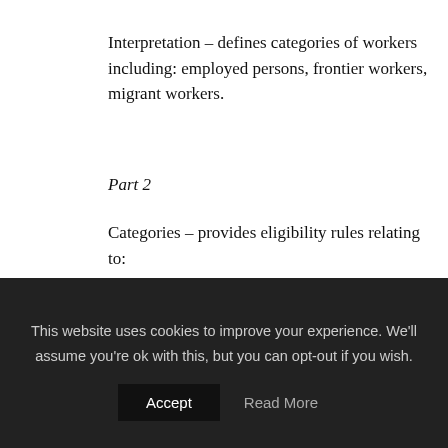Interpretation – defines categories of workers including: employed persons, frontier workers, migrant workers.
Part 2
Categories – provides eligibility rules relating to:
persons settled in the United Kingdom
refugees and their family members
persons granted humanitarian protection and their family members
This website uses cookies to improve your experience. We'll assume you're ok with this, but you can opt-out if you wish.